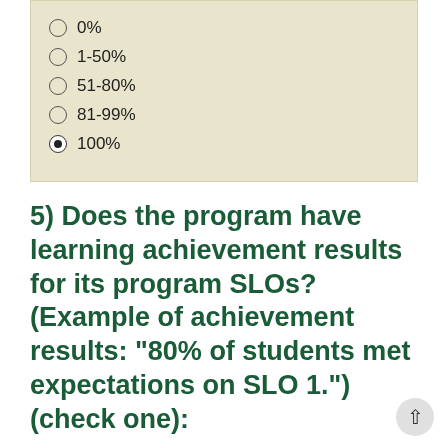0%
1-50%
51-80%
81-99%
100% (selected)
5) Does the program have learning achievement results for its program SLOs? (Example of achievement results: "80% of students met expectations on SLO 1.")(check one):
No
Yes, on some(1-50%) of the program SLOs